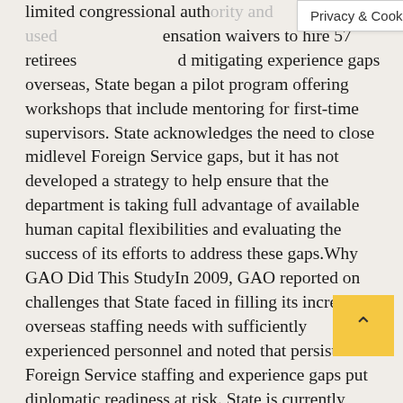limited congressional auth[ority and used] ens ation waivers to hire 57 retirees [and steps to] d mitigating experience gaps overseas, State began a pilot program offering workshops that include mentoring for first-time supervisors. State acknowledges the need to close midlevel Foreign Service gaps, but it has not developed a strategy to help ensure that the department is taking full advantage of available human capital flexibilities and evaluating the success of its efforts to address these gaps.Why GAO Did This StudyIn 2009, GAO reported on challenges that State faced in filling its increasing overseas staffing needs with sufficiently experienced personnel and noted that persistent Foreign Service staffing and experience gaps put diplomatic readiness at risk. State is currently undertaking a new hiring plan, known as “Diplomacy 3.0,” to increase the size of the Foreign Service by 25 percent to close staffing gaps and respond to new diplomatic priorities. However, fiscal constraints are likely to delay the plan’s full implementation well beyond its intended target for completion in 2013. In addition, State’s first Quadrennial Diplomacy and
[Figure (other): Privacy & Cookies Policy banner overlay]